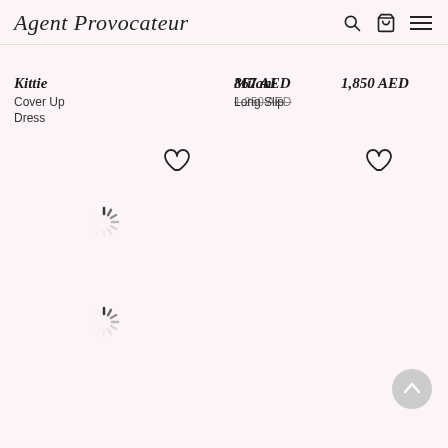Agent Provocateur
Kittie
Cover Up Dress
867 AED
1,250 AED (strikethrough)
Milani
Long Slip
1,850 AED
[Figure (other): Loading spinner icons and heart/wishlist icons for product images that are loading]
[Figure (other): Scroll to top button, circular grey button with arrow]